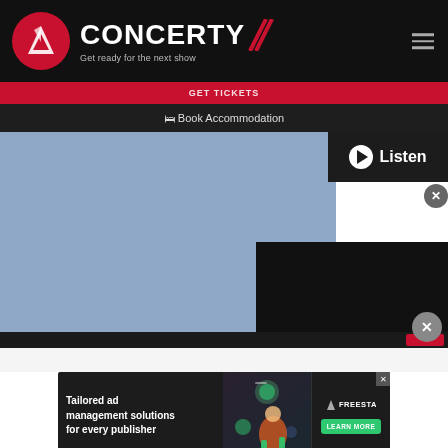[Figure (logo): Concerty logo with red circle icon, white CONCERTY text with red slash, and tagline 'Get ready for the next show']
Book Accommodation
[Figure (screenshot): Website screenshot showing sky-blue image area with Listen button and video overlay with close buttons]
[Figure (other): Advertisement banner: 'Tailored ad management solutions for every publisher' with Freesta branding and Learn More button]